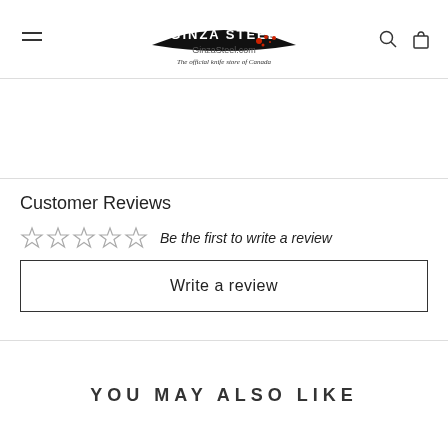Ginza Steel — GinzaSteel.com — The official knife store of Canada
Customer Reviews
☆☆☆☆☆  Be the first to write a review
Write a review
YOU MAY ALSO LIKE